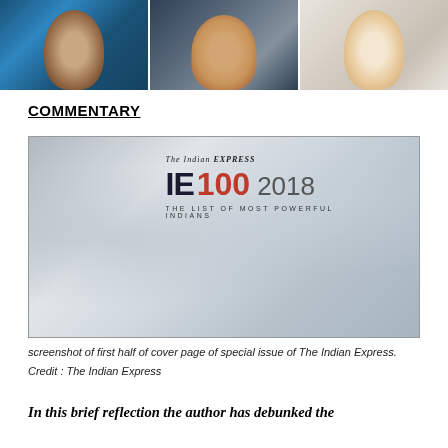[Figure (photo): Three cropped photos of Indian public figures arranged side by side at the top of the page]
COMMENTARY
[Figure (screenshot): Screenshot of the cover page of The Indian Express special issue — IE 100 2018: The List of Most Powerful Indians, featuring a collage of prominent Indian personalities]
screenshot of first half of cover page of special issue of The Indian Express. Credit : The Indian Express
In this brief reflection the author has debunked the